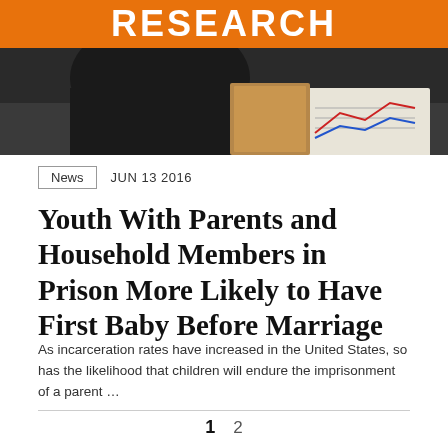[Figure (photo): Header image with orange 'RESEARCH' banner at top and a dark photo below showing a person at a desk with papers and charts]
News   JUN 13 2016
Youth With Parents and Household Members in Prison More Likely to Have First Baby Before Marriage
As incarceration rates have increased in the United States, so has the likelihood that children will endure the imprisonment of a parent …
1   2